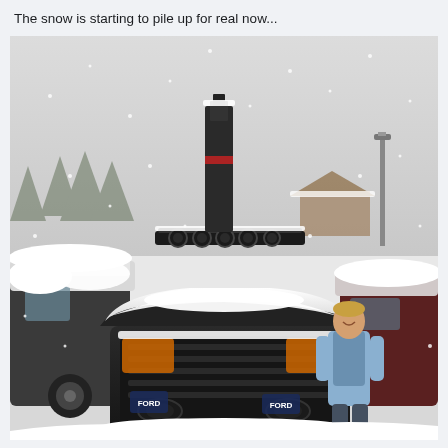The snow is starting to pile up for real now...
[Figure (photo): A snow-covered Ford pickup truck with a roof light bar and tall antenna/mast mounted on top, parked in a snowy parking lot. A person in a light blue jacket stands beside the truck on the right. Other snow-covered vehicles are visible on both sides. Trees and a small building are visible in the snowy background. Heavy snowfall is ongoing.]